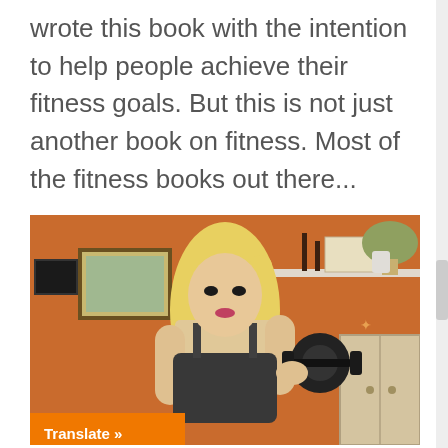wrote this book with the intention to help people achieve their fitness goals. But this is not just another book on fitness. Most of the fitness books out there...
[Figure (photo): A blonde woman in a dark sports bra holding an ab wheel / dumbbell in a home gym setting with an orange wall, picture frames, a shelf with decorative items, and a wooden cabinet]